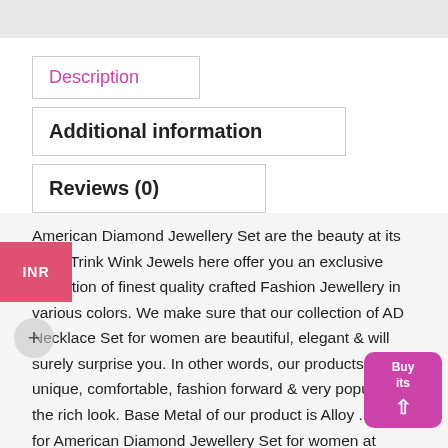Description
Additional information
Reviews (0)
American Diamond Jewellery Set are the beauty at its best. Trink Wink Jewels here offer you an exclusive collection of finest quality crafted Fashion Jewellery in various colors. We make sure that our collection of AD Necklace Set for women are beautiful, elegant & will surely surprise you. In other words, our products are unique, comfortable, fashion forward & very popular for the rich look. Base Metal of our product is Alloy . Shop for American Diamond Jewellery Set for women at lower price. So, why waste time here and there. Buy online from our collection and bring your beauty home because its worth your time.